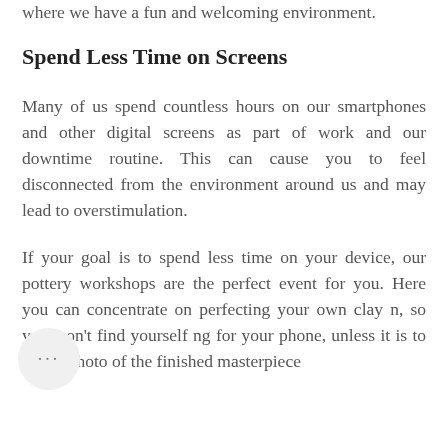where we have a fun and welcoming environment.
Spend Less Time on Screens
Many of us spend countless hours on our smartphones and other digital screens as part of work and our downtime routine. This can cause you to feel disconnected from the environment around us and may lead to overstimulation.
If your goal is to spend less time on your device, our pottery workshops are the perfect event for you. Here you can concentrate on perfecting your own clay n, so you won't find yourself ng for your phone, unless it is to take a photo of the finished masterpiece